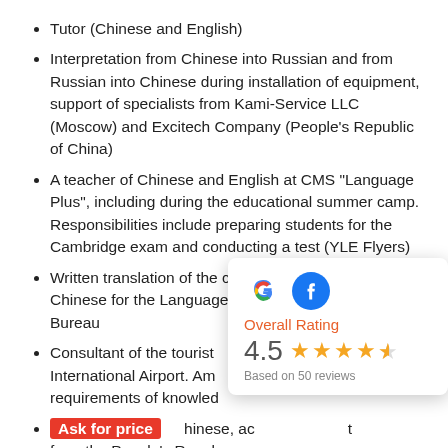Tutor (Chinese and English)
Interpretation from Chinese into Russian and from Russian into Chinese during installation of equipment, support of specialists from Kami-Service LLC (Moscow) and Excitech Company (People's Republic of China)
A teacher of Chinese and English at CMS "Language Plus", including during the educational summer camp. Responsibilities include preparing students for the Cambridge exam and conducting a test (YLE Flyers)
Written translation of the contract from Russian into Chinese for the Language for Success Translation Bureau
Consultant of the tourist ... an International Airport. Am... requirements of knowled...
Interpretation from Chin... hinese, ac... from the People's Repub... meeting with representatives of the "Union of
[Figure (infographic): Overall Rating popup showing Google and Facebook icons, rating of 4.5 stars based on 50 reviews]
Ask for price